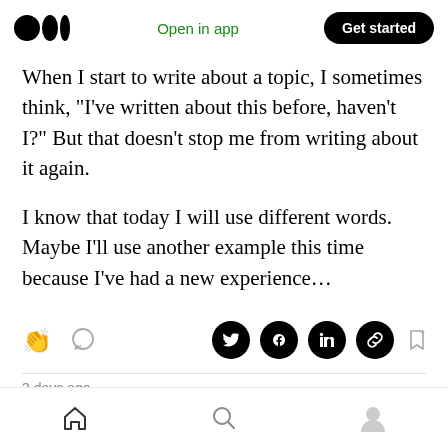Medium logo | Open in app | Get started
When I start to write about a topic, I sometimes think, “I’ve written about this before, haven’t I?” But that doesn’t stop me from writing about it again.
I know that today I will use different words. Maybe I’ll use another example this time because I’ve had a new experience…
[Figure (screenshot): Action bar with clap icon, comment icon on left, and Twitter, Facebook, LinkedIn, link share icons plus bookmark icon on right]
3 days ago
[Figure (screenshot): Bottom navigation bar with home, search, and profile icons]